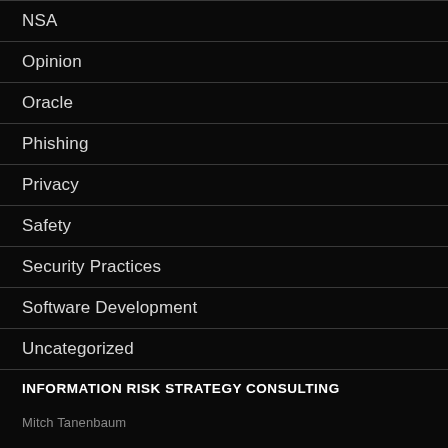NSA
Opinion
Oracle
Phishing
Privacy
Safety
Security Practices
Software Development
Uncategorized
INFORMATION RISK STRATEGY CONSULTING
Mitch Tanenbaum